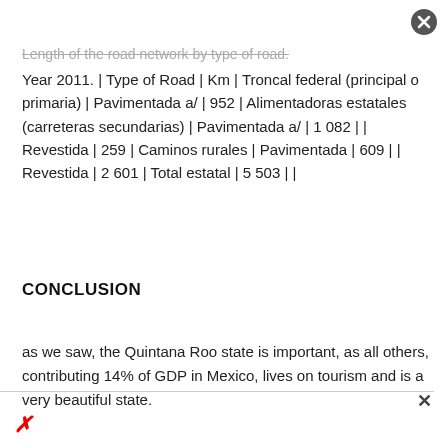Length of the road network by type of road.
Year 2011. | Type of Road | Km | Troncal federal (principal o primaria) | Pavimentada a/ | 952 | Alimentadoras estatales (carreteras secundarias) | Pavimentada a/ | 1 082 | | Revestida | 259 | Caminos rurales | Pavimentada | 609 | | Revestida | 2 601 | Total estatal | 5 503 | |
CONCLUSION
as we saw, the Quintana Roo state is important, as all others, contributing 14% of GDP in Mexico, lives on tourism and is a very beautiful state.